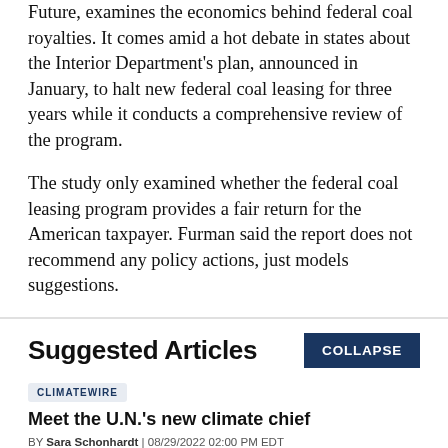Future, examines the economics behind federal coal royalties. It comes amid a hot debate in states about the Interior Department's plan, announced in January, to halt new federal coal leasing for three years while it conducts a comprehensive review of the program.
The study only examined whether the federal coal leasing program provides a fair return for the American taxpayer. Furman said the report does not recommend any policy actions, just models suggestions.
Suggested Articles
CLIMATEWIRE
Meet the U.N.'s new climate chief
BY Sara Schonhardt | 08/29/2022 02:00 PM EDT
Read More >>
CLIMATEWIRE
With prices soaring, natural gas faces uncertain future